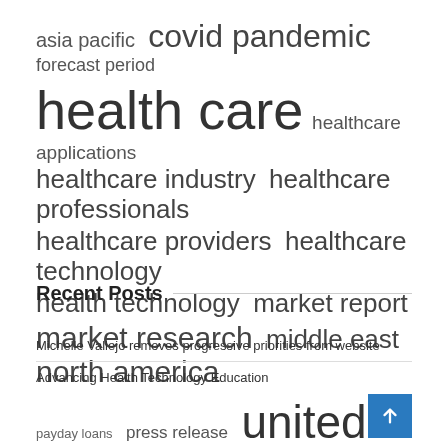[Figure (other): Tag cloud with healthcare-related keywords in varying sizes: asia pacific, covid pandemic, forecast period, health care, healthcare applications, healthcare industry, healthcare professionals, healthcare providers, healthcare technology, health technology, market report, market research, middle east, north america, payday loans, press release, united states]
Recent Posts
Michelle Vallejo removes progressive priorities from website
Advancing Health Technology Education